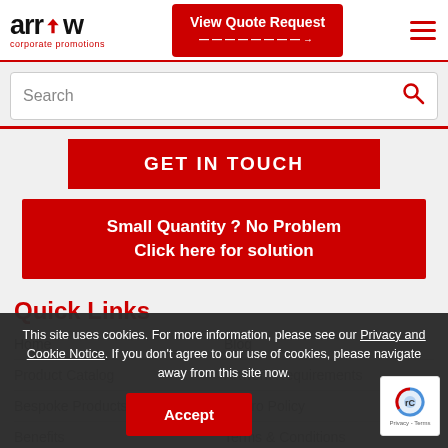[Figure (logo): Arrow Corporate Promotions logo with red arrow droplet icon]
View Quote Request
[Figure (other): Hamburger menu icon (three horizontal red lines)]
Search
GET IN TOUCH
Small Quantity ? No Problem
Click here for solution
Quick Links
Home
Blog
Product Catalog
Artwork Requirements
Bespoke Products
Enviro Policy
Benefits
Terms & Conditions
This site uses cookies. For more information, please see our Privacy and Cookie Notice. If you don't agree to our use of cookies, please navigate away from this site now.
Accept